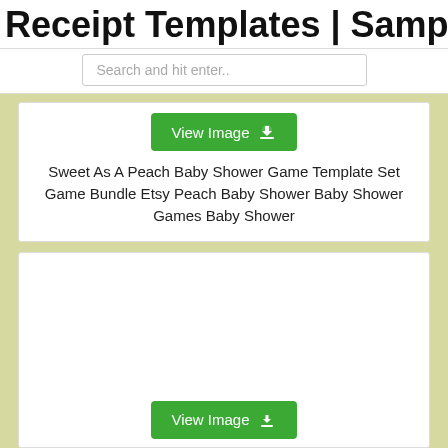Receipt Templates | Samples - PDF
Search and hit enter..
[Figure (screenshot): Green 'View Image' button with download cloud icon]
Sweet As A Peach Baby Shower Game Template Set Game Bundle Etsy Peach Baby Shower Baby Shower Games Baby Shower
[Figure (screenshot): Second card with white background and partial green 'View Image' button visible at bottom]